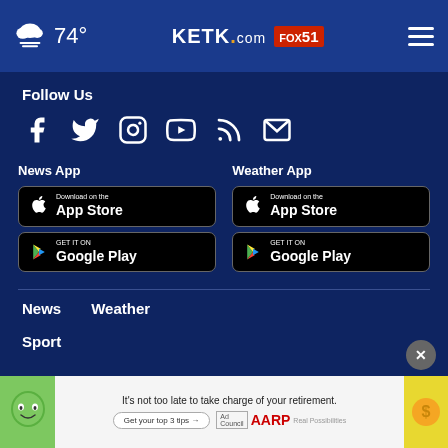74° KETK.com FOX51
Follow Us
[Figure (infographic): Social media icons: Facebook, Twitter, Instagram, YouTube, RSS, Email]
News App
Weather App
[Figure (infographic): App store download buttons: Apple App Store and Google Play for News App and Weather App]
News
Weather
Sport
[Figure (infographic): Advertisement banner: AARP - It's not too late to take charge of your retirement. Get your top 3 tips.]